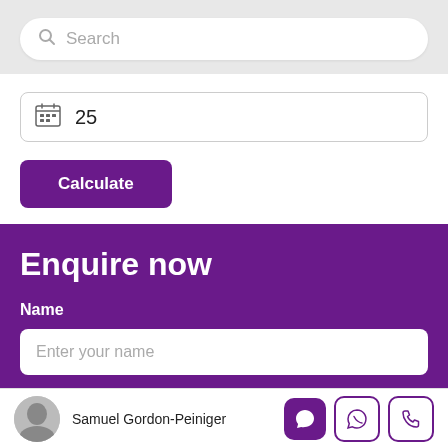[Figure (screenshot): Search bar with magnifying glass icon and placeholder text 'Search']
[Figure (screenshot): Date input field showing calendar icon and value '25']
Calculate
Enquire now
Name
Enter your name
Samuel Gordon-Peiniger